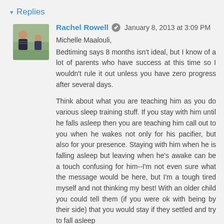▾ Replies
Rachel Rowell  January 8, 2013 at 3:09 PM
Michelle Maalouli,
Bedtiming says 8 months isn't ideal, but I know of a lot of parents who have success at this time so I wouldn't rule it out unless you have zero progress after several days.

Think about what you are teaching him as you do various sleep training stuff. If you stay with him until he falls asleep then you are teaching him call out to you when he wakes not only for his pacifier, but also for your presence. Staying with him when he is falling asleep but leaving when he's awake can be a touch confusing for him--I'm not even sure what the message would be here, but I'm a tough tired myself and not thinking my best! With an older child you could tell them (if you were ok with being by their side) that you would stay if they settled and try to fall asleep